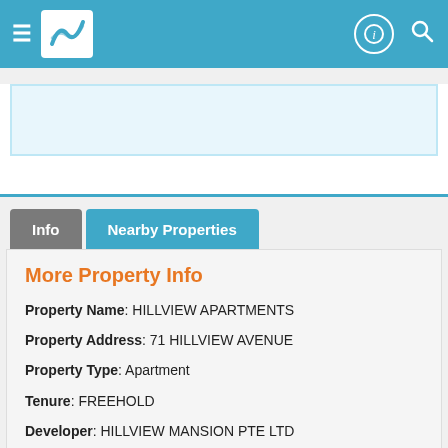[Figure (screenshot): App header bar with hamburger menu, logo, info icon, and search icon on blue background]
[Figure (other): Advertisement placeholder area with light blue border]
Info
Nearby Properties
More Property Info
Property Name: HILLVIEW APARTMENTS
Property Address: 71 HILLVIEW AVENUE
Property Type: Apartment
Tenure: FREEHOLD
Developer: HILLVIEW MANSION PTE LTD
Estimated TOP: 1998